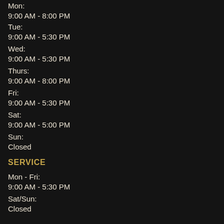Mon:
9:00 AM - 8:00 PM
Tue:
9:00 AM - 5:30 PM
Wed:
9:00 AM - 5:30 PM
Thurs:
9:00 AM - 8:00 PM
Fri:
9:00 AM - 5:30 PM
Sat:
9:00 AM - 5:00 PM
Sun:
Closed
SERVICE
Mon - Fri:
9:00 AM - 5:30 PM
Sat/Sun:
Closed